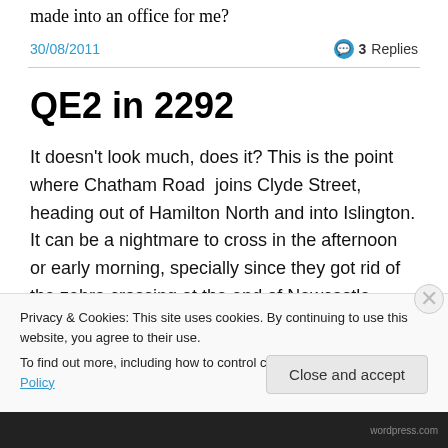made into an office for me?
30/08/2011   💬 3 Replies
QE2 in 2292
It doesn't look much, does it? This is the point where Chatham Road  joins Clyde Street, heading out of Hamilton North and into Islington. It can be a nightmare to cross in the afternoon or early morning, specially since they got rid of the zebra crossing at the end of Newcastle
Privacy & Cookies: This site uses cookies. By continuing to use this website, you agree to their use.
To find out more, including how to control cookies, see here: Cookie Policy
Close and accept